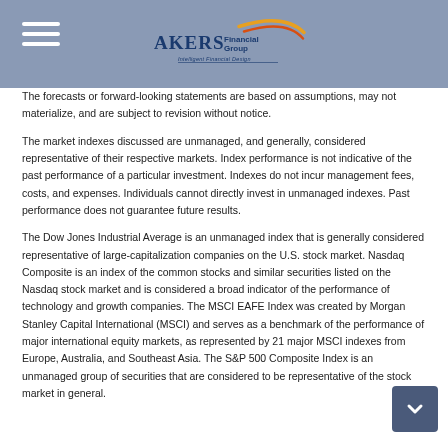Akers Financial Group — Intelligent Financial Design
The forecasts or forward-looking statements are based on assumptions, may not materialize, and are subject to revision without notice.
The market indexes discussed are unmanaged, and generally, considered representative of their respective markets. Index performance is not indicative of the past performance of a particular investment. Indexes do not incur management fees, costs, and expenses. Individuals cannot directly invest in unmanaged indexes. Past performance does not guarantee future results.
The Dow Jones Industrial Average is an unmanaged index that is generally considered representative of large-capitalization companies on the U.S. stock market. Nasdaq Composite is an index of the common stocks and similar securities listed on the Nasdaq stock market and is considered a broad indicator of the performance of technology and growth companies. The MSCI EAFE Index was created by Morgan Stanley Capital International (MSCI) and serves as a benchmark of the performance of major international equity markets, as represented by 21 major MSCI indexes from Europe, Australia, and Southeast Asia. The S&P 500 Composite Index is an unmanaged group of securities that are considered to be representative of the stock market in general.